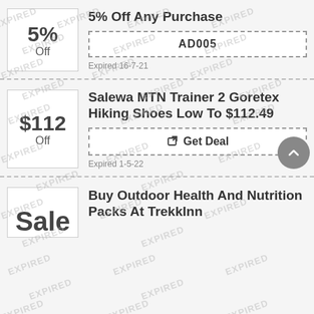5% Off Any Purchase
5% Off
AD005
Expired 16-7-21
Salewa MTN Trainer 2 Goretex Hiking Shoes Low To $112.49
$112 Off
Get Deal
Expired 1-5-22
Buy Outdoor Health And Nutrition Packs At TrekkInn
Sale